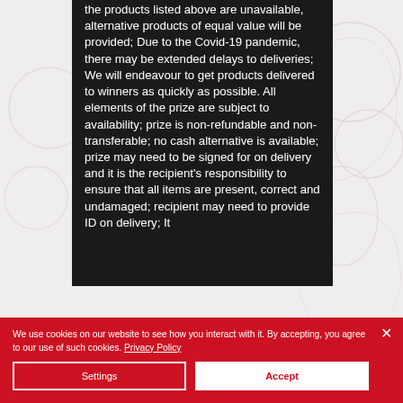the products listed above are unavailable, alternative products of equal value will be provided; Due to the Covid-19 pandemic, there may be extended delays to deliveries; We will endeavour to get products delivered to winners as quickly as possible. All elements of the prize are subject to availability; prize is non-refundable and non-transferable; no cash alternative is available; prize may need to be signed for on delivery and it is the recipient's responsibility to ensure that all items are present, correct and undamaged; recipient may need to provide ID on delivery; It
We use cookies on our website to see how you interact with it. By accepting, you agree to our use of such cookies. Privacy Policy